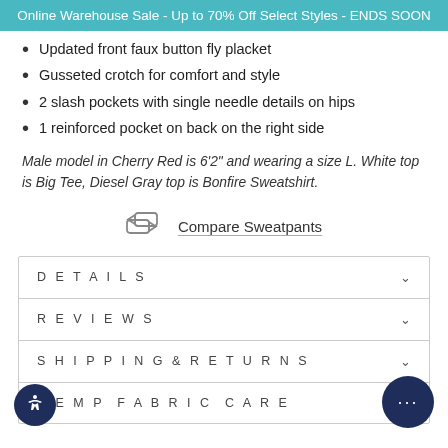Online Warehouse Sale - Up to 70% Off Select Styles - ENDS SOON
Updated front faux button fly placket
Gusseted crotch for comfort and style
2 slash pockets with single needle details on hips
1 reinforced pocket on back on the right side
Male model in Cherry Red is 6'2" and wearing a size L. White top is Big Tee, Diesel Gray top is Bonfire Sweatshirt.
Compare Sweatpants
| Section |  |
| --- | --- |
| DETAILS | ∨ |
| REVIEWS | ∨ |
| SHIPPING & RETURNS | ∨ |
| HEMP FABRIC CARE |  |